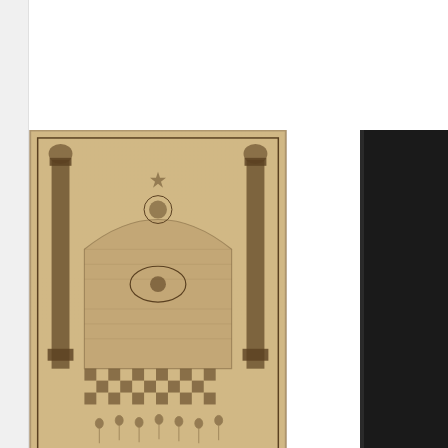[Figure (illustration): Antique engraving of Masonic imagery showing two columns flanking an arched gateway with checkerboard floor and decorative elements, on aged paper background, ca. 1800]
Masonry
Maker not marked
ca. 1800
View
[Figure (illustration): Partial view of another artwork, dark background, partially cropped at right edge. Text 'Tho' visible below.]
Tho